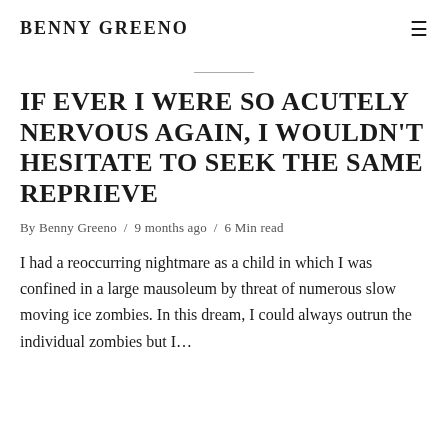BENNY GREENO
IF EVER I WERE SO ACUTELY NERVOUS AGAIN, I WOULDN'T HESITATE TO SEEK THE SAME REPRIEVE
By Benny Greeno / 9 months ago / 6 Min read
I had a reoccurring nightmare as a child in which I was confined in a large mausoleum by threat of numerous slow moving ice zombies. In this dream, I could always outrun the individual zombies but I…